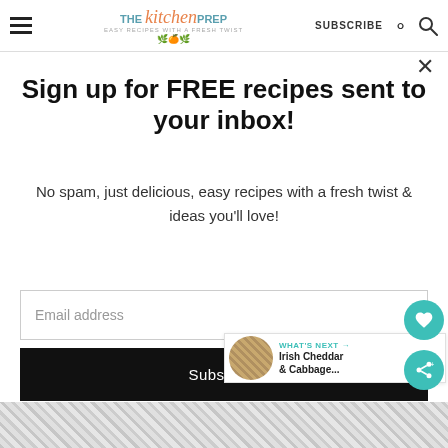THE kitchen PREP — EASY RECIPES WITH A FRESH TWIST | SUBSCRIBE
Sign up for FREE recipes sent to your inbox!
No spam, just delicious, easy recipes with a fresh twist & ideas you'll love!
Email address
Subscribe
WHAT'S NEXT → Irish Cheddar & Cabbage...
[Figure (photo): Bottom strip showing a textured woven/fabric pattern in grey tones]